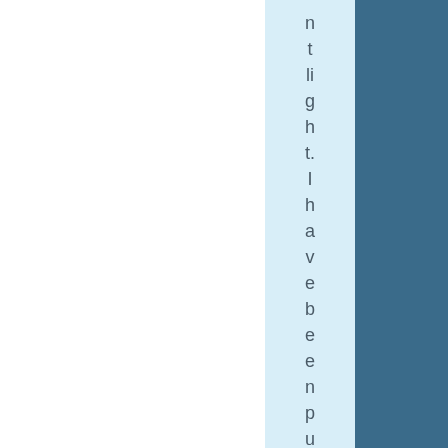n t li g h t. I h a v e b e e n p u tt i n g